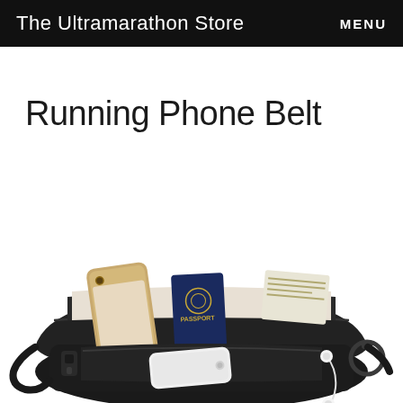The Ultramarathon Store   MENU
Running Phone Belt
[Figure (photo): Black running waist/fanny pack (phone belt) shown open with a smartphone, passport, cash, another phone/device, and earbuds visible in multiple pockets.]